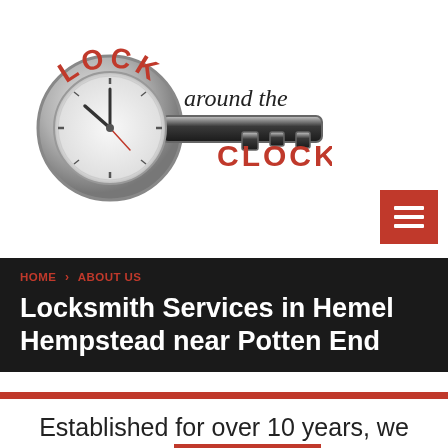[Figure (logo): Lock Around the Clock logo — clock face integrated into a key shape, with red text 'LOCK' arched above and red 'CLOCK' below, 'around the' in black serif text to the right]
[Figure (other): Red hamburger menu button (three horizontal white lines) in top-right area]
HOME › ABOUT US
Locksmith Services in Hemel Hempstead near Potten End
Established for over 10 years, we are FRIENDLY